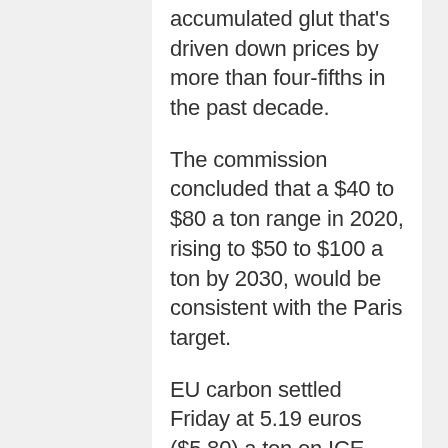accumulated glut that's driven down prices by more than four-fifths in the past decade.
The commission concluded that a $40 to $80 a ton range in 2020, rising to $50 to $100 a ton by 2030, would be consistent with the Paris target.
EU carbon settled Friday at 5.19 euros ($5.80) a ton on ICE Futures Europe in London.